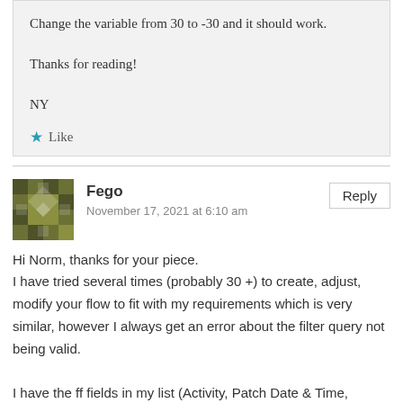Change the variable from 30 to -30 and it should work.

Thanks for reading!

NY
★ Like
Fego
November 17, 2021 at 6:10 am
Hi Norm, thanks for your piece.
I have tried several times (probably 30 +) to create, adjust, modify your flow to fit with my requirements which is very similar, however I always get an error about the filter query not being valid.

I have the ff fields in my list (Activity, Patch Date & Time,